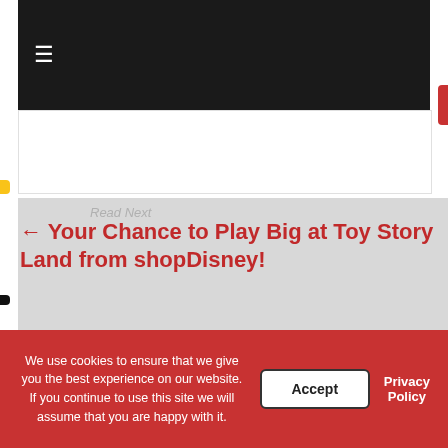≡
Read Next
← Your Chance to Play Big at Toy Story Land from shopDisney!
[Figure (screenshot): Thumbnail image for Disney Store Sleep Shop Hotline article, showing D23 Expo branding overlay]
Introducing Disney Store's Sleep Shop Hotline! →
THE STARS OF WALT DISNEY AND PIXAR ANIMATION STUDIOS COME TOGETHER AT D23 EXPO 2017 #D23Expo
July 14, 2017  0
Share This Post:
We use cookies to ensure that we give you the best experience on our website. If you continue to use this site we will assume that you are happy with it.
Accept
Privacy Policy